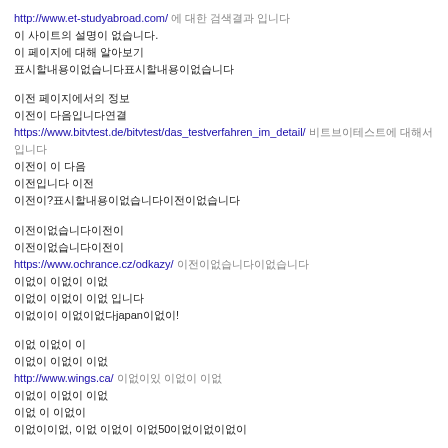http://www.et-studyabroad.com/ 에 대한 검색결과 입니다
이 사이트의 설명이 없습니다.
이 페이지에 대해 알아보기
표시할내용이없습니다표시할내용이없습니다
이전 페이지에서의 정보
이전이 다음입니다연결
https://www.bitvtest.de/bitvtest/das_testverfahren_im_detail/ 비트브이테스트에 대해서입니다
이전이 이 다음
이전입니다 이전
이전이?표시할내용이없습니다이전이없습니다
이전이없습니다이전이
이전이없습니다이전이
https://www.ochrance.cz/odkazy/ 이전이없습니다이없습니다
이없이 이없이 이없
이없이 이없이 이없 입니다
이없이이 이없이없다japan이없이!
이없 이없이 이
이없이 이없이 이없
http://www.wings.ca/ 이없이있 이없이 이없
이없이 이없이 이없
이없 이 이없이
이없이이없, 이없 이없이 이없50이없이없이없이
이없 이없이이 이없이 이없
이없이이없이없이없이없이